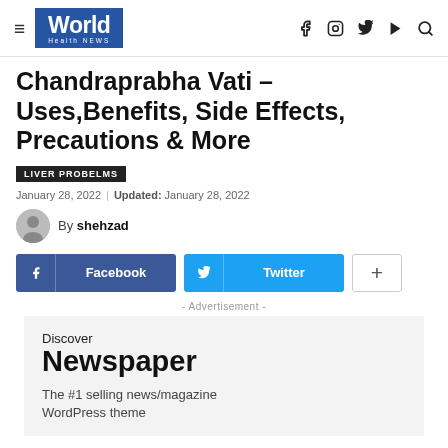World Health NEWS
Chandraprabha Vati – Uses,Benefits, Side Effects, Precautions & More
LIVER PROBELMS
January 28, 2022 | Updated: January 28, 2022
By shehzad
[Figure (other): Social share buttons: Facebook, Twitter, and more (+)]
- Advertisement -
[Figure (other): Advertisement box: Discover Newspaper – The #1 selling news/magazine WordPress theme]